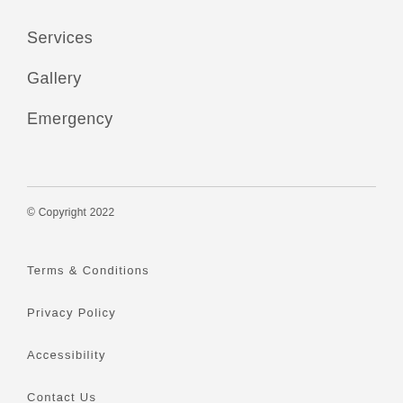Services
Gallery
Emergency
© Copyright 2022
Terms & Conditions
Privacy Policy
Accessibility
Contact Us